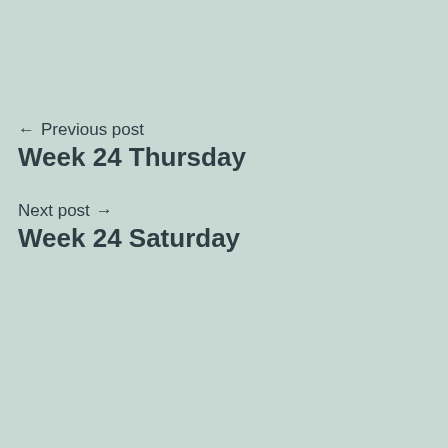← Previous post
Week 24 Thursday
Next post →
Week 24 Saturday